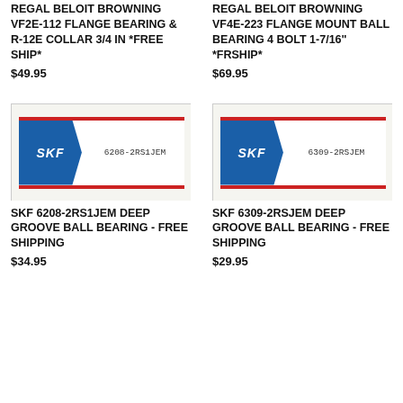REGAL BELOIT BROWNING VF2E-112 FLANGE BEARING & R-12E COLLAR 3/4 IN *FREE SHIP*
$49.95
REGAL BELOIT BROWNING VF4E-223 FLANGE MOUNT BALL BEARING 4 BOLT 1-7/16" *FRSHIP*
$69.95
[Figure (photo): SKF 6208-2RS1JEM bearing box, white box with blue SKF logo arrow and red borders]
[Figure (photo): SKF 6309-2RSJEM bearing box, white box with blue SKF logo arrow and red borders]
SKF 6208-2RS1JEM DEEP GROOVE BALL BEARING - FREE SHIPPING
$34.95
SKF 6309-2RSJEM DEEP GROOVE BALL BEARING - FREE SHIPPING
$29.95